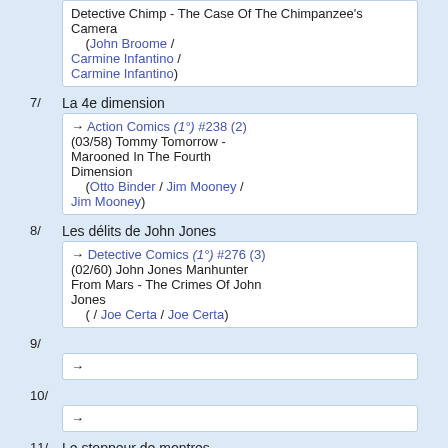Detective Chimp - The Case Of The Chimpanzee's Camera (John Broome / Carmine Infantino / Carmine Infantino)
7/ La 4e dimension
→ Action Comics (1°) #238 (2) (03/58) Tommy Tomorrow - Marooned In The Fourth Dimension (Otto Binder / Jim Mooney / Jim Mooney)
8/ Les délits de John Jones
→ Detective Comics (1°) #276 (3) (02/60) John Jones Manhunter From Mars - The Crimes Of John Jones ( / Joe Certa / Joe Certa)
9/
→
10/
→
11/ Le stoppeur de montres magique
→ Detective Comics (1°) #266 (3) (04/59) John Jones Manhunter From Mars - The Challenge Of The Masked Avenger ( / Joe Certa / Joe Certa)